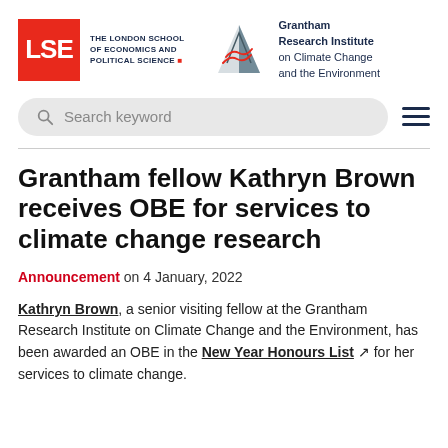[Figure (logo): LSE (London School of Economics and Political Science) logo in red square with white text, alongside institutional name text]
[Figure (logo): Grantham Research Institute on Climate Change and the Environment logo with mountain/triangle graphic in grey and dark blue, and institute name text in dark navy]
[Figure (screenshot): Search bar with placeholder text 'Search keyword' and hamburger menu icon]
Grantham fellow Kathryn Brown receives OBE for services to climate change research
Announcement on 4 January, 2022
Kathryn Brown, a senior visiting fellow at the Grantham Research Institute on Climate Change and the Environment, has been awarded an OBE in the New Year Honours List ↗ for her services to climate change.